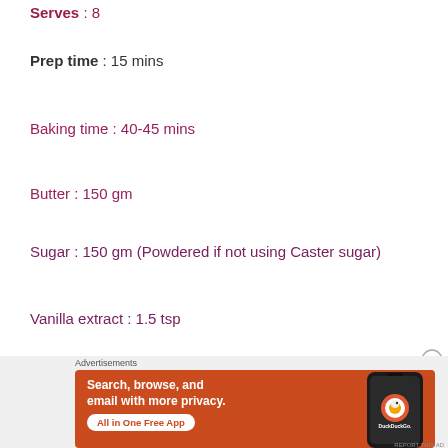Serves : 8
Prep time : 15 mins
Baking time : 40-45 mins
Butter : 150 gm
Sugar : 150 gm (Powdered if not using Caster sugar)
Vanilla extract : 1.5 tsp
[Figure (screenshot): DuckDuckGo advertisement banner: orange background with text 'Search, browse, and email with more privacy. All in One Free App' and DuckDuckGo logo with phone image]